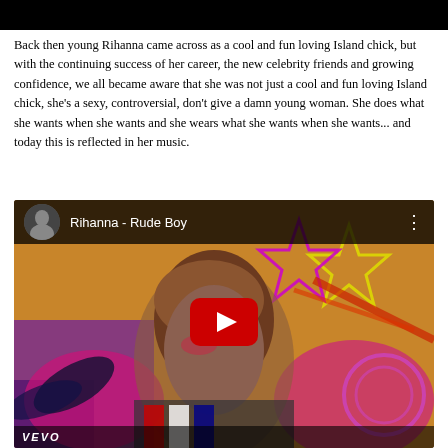[Figure (screenshot): Black bar at top of page]
Back then young Rihanna came across as a cool and fun loving Island chick, but with the continuing success of her career, the new celebrity friends and growing confidence, we all became aware that she was not just a cool and fun loving Island chick, she's a sexy, controversial, don't give a damn young woman. She does what she wants when she wants and she wears what she wants when she wants... and today this is reflected in her music.
[Figure (screenshot): YouTube video embed showing Rihanna - Rude Boy music video thumbnail with play button. The thumbnail shows Rihanna with colorful graffiti-style background. The video header shows a circular avatar, the title 'Rihanna - Rude Boy', and three-dot menu. At the bottom is the VEVO logo.]